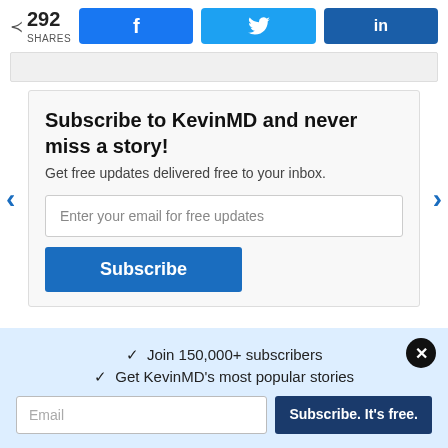< 292 SHARES
[Figure (screenshot): Social share buttons: Facebook (f), Twitter (bird icon), LinkedIn (in)]
Subscribe to KevinMD and never miss a story!
Get free updates delivered free to your inbox.
Enter your email for free updates
Subscribe
✓  Join 150,000+ subscribers
✓  Get KevinMD's most popular stories
Email
Subscribe. It's free.